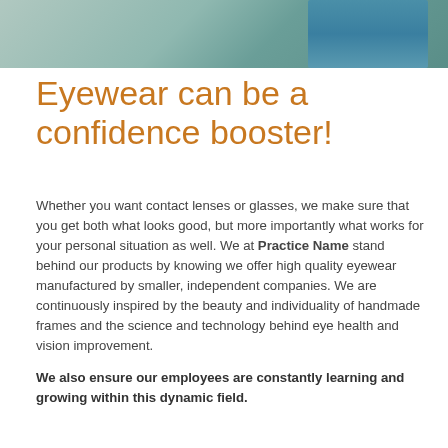[Figure (photo): Partial photo strip at the top showing an outdoor scene with a person in a teal/blue top, blurred background of sandy ground and grass.]
Eyewear can be a confidence booster!
Whether you want contact lenses or glasses, we make sure that you get both what looks good, but more importantly what works for your personal situation as well. We at Practice Name stand behind our products by knowing we offer high quality eyewear manufactured by smaller, independent companies. We are continuously inspired by the beauty and individuality of handmade frames and the science and technology behind eye ​health and vision improvement.
We also ensure our employees are constantly learning and growing within this dynamic field.